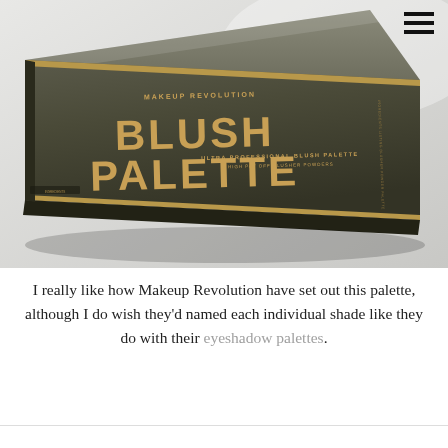[Figure (photo): Makeup Revolution Blush Palette box photographed at an angle on a white/grey surface. The dark olive/grey box has gold metallic text reading 'BLUSH PALETTE' in large letters, with 'MAKEUP REVOLUTION' and 'ULTRA PROFESSIONAL BLUSH PALETTE' and '8 HIGH PAY OFF BLUSHER POWDERS' in smaller gold text.]
I really like how Makeup Revolution have set out this palette, although I do wish they'd named each individual shade like they do with their eyeshadow palettes.